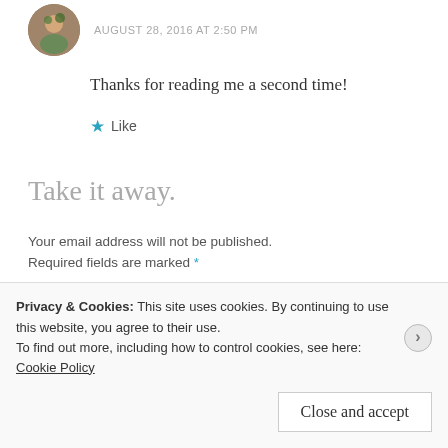Thanks for reading me a second time!
★ Like
Take it away.
Your email address will not be published. Required fields are marked *
Privacy & Cookies: This site uses cookies. By continuing to use this website, you agree to their use. To find out more, including how to control cookies, see here: Cookie Policy
Close and accept